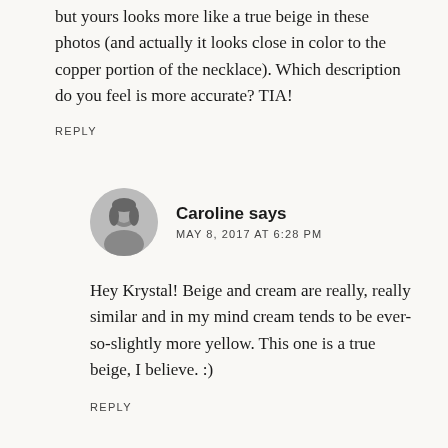but yours looks more like a true beige in these photos (and actually it looks close in color to the copper portion of the necklace). Which description do you feel is more accurate? TIA!
REPLY
[Figure (photo): Circular avatar photo of Caroline, a woman with dark hair]
Caroline says
MAY 8, 2017 AT 6:28 PM
Hey Krystal! Beige and cream are really, really similar and in my mind cream tends to be ever-so-slightly more yellow. This one is a true beige, I believe. :)
REPLY